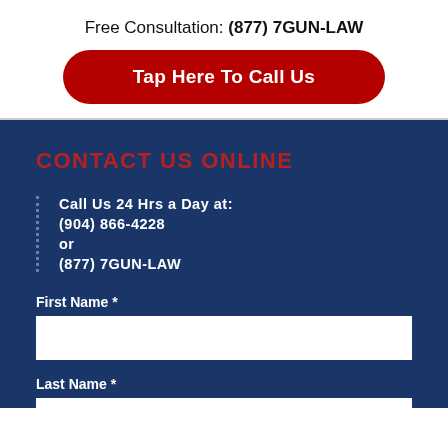Free Consultation: (877) 7GUN-LAW
Tap Here To Call Us
CONTACT US ONLINE
Call Us 24 Hrs a Day at:
(904) 866-4228
or
(877) 7GUN-LAW
First Name *
Last Name *